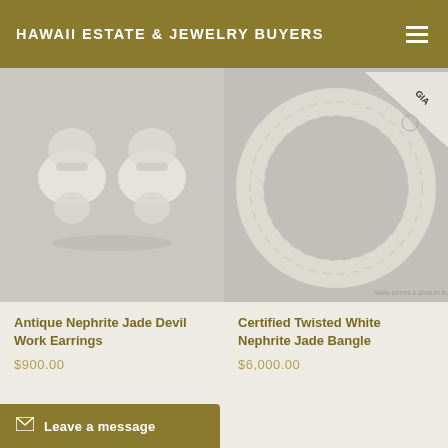HAWAII ESTATE & JEWELRY BUYERS
[Figure (photo): Antique nephrite jade devil work earrings — two white jade clip-on earrings with carved dome tops and round bases, on gray background]
Antique Nephrite Jade Devil Work Earrings
$900.00
[Figure (photo): Certified twisted white nephrite jade bangle — a circular twisted white jade bangle ring with GIA certification label in top corner, on gray background]
Certified Twisted White Nephrite Jade Bangle
$6,000.00
Leave a message